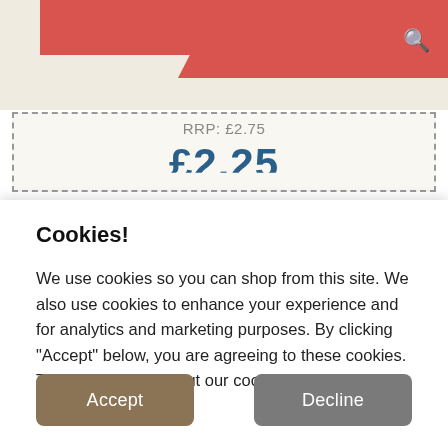[Figure (screenshot): Top banner with red/salmon colored decorative blocks and a search icon on the right]
RRP: £2.75
£2.25 (partially visible)
Cookies!
We use cookies so you can shop from this site. We also use cookies to enhance your experience and for analytics and marketing purposes. By clicking "Accept" below, you are agreeing to these cookies. To find out more about our cookies please click here.
Accept
Decline